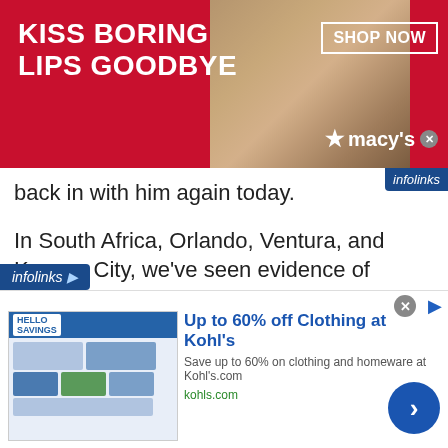[Figure (photo): Macy's advertisement banner with red background showing 'KISS BORING LIPS GOODBYE' text, a woman's face with red lipstick, SHOP NOW button in white box, and Macy's star logo]
back in with him again today.
In South Africa, Orlando, Ventura, and Kansas City, we’ve seen evidence of Scientology “Volunteer Ministers” going door to door to hand out cleaning materials and booklets in completely irresponsible ways that could only help spread the virus.
Here are a couple of new photos from Kansas
[Figure (screenshot): Kohl's advertisement: 'Up to 60% off Clothing at Kohl’s' with product image thumbnails, description 'Save up to 60% on clothing and homeware at Kohl’s.com', URL kohls.com, and blue circular arrow button]